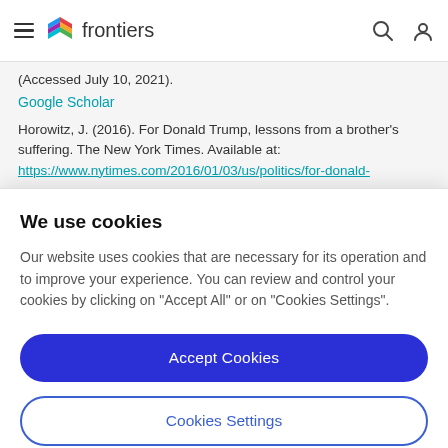frontiers
(Accessed July 10, 2021).
Google Scholar
Horowitz, J. (2016). For Donald Trump, lessons from a brother's suffering. The New York Times. Available at: https://www.nytimes.com/2016/01/03/us/politics/for-donald-
We use cookies
Our website uses cookies that are necessary for its operation and to improve your experience. You can review and control your cookies by clicking on "Accept All" or on "Cookies Settings".
Accept Cookies
Cookies Settings